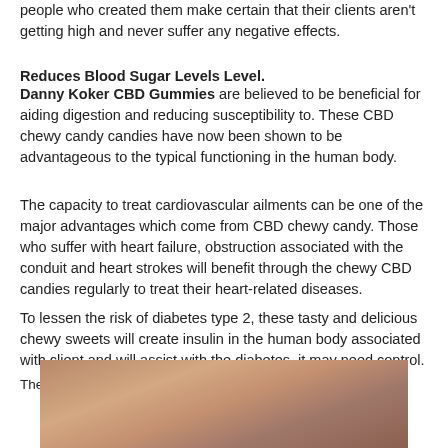people who created them make certain that their clients aren't getting high and never suffer any negative effects.
Reduces Blood Sugar Levels Level.
Danny Koker CBD Gummies are believed to be beneficial for aiding digestion and reducing susceptibility to. These CBD chewy candy candies have now been shown to be advantageous to the typical functioning in the human body.
The capacity to treat cardiovascular ailments can be one of the major advantages which come from CBD chewy candy. Those who suffer with heart failure, obstruction associated with the conduit and heart strokes will benefit through the chewy CBD candies regularly to treat their heart-related diseases.
To lessen the risk of diabetes type 2, these tasty and delicious chewy sweets will create insulin in the human body associated with client and will assist with the diabetes, it may need control.
These chewy snacks have now been discovered to be very efficient in keeping pace with the flow of blood through the body. This means the situation of high and low pulses could be addressed in an ordinary manner and without adverse consequences.
[Figure (photo): Partial photo of a person, showing skin tones, cropped at bottom of page.]